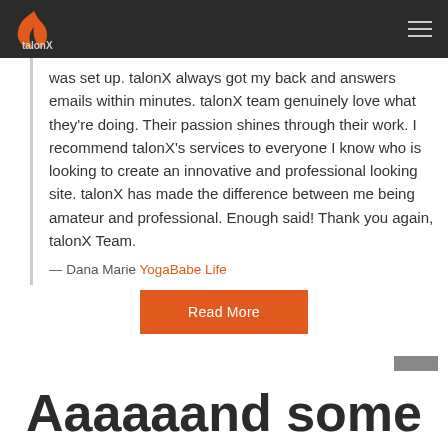talonX
was set up. talonX always got my back and answers emails within minutes. talonX team genuinely love what they're doing. Their passion shines through their work. I recommend talonX's services to everyone I know who is looking to create an innovative and professional looking site. talonX has made the difference between me being amateur and professional. Enough said! Thank you again, talonX Team.
— Dana Marie YogaBabe Life
Read More
Aaaaaand some